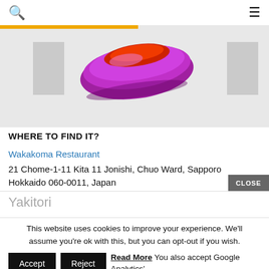🔍 ≡
[Figure (photo): Partial banner image with orange/yellow line at top and a purple/pink/red glossy object (possibly a lipstick or food item) in the center, on a light gray background with gray rectangles on sides.]
WHERE TO FIND IT?
Wakakoma Restaurant
21 Chome-1-11 Kita 11 Jonishi, Chuo Ward, Sapporo Hokkaido 060-0011, Japan
Yakitori
This website uses cookies to improve your experience. We'll assume you're ok with this, but you can opt-out if you wish.
Accept Reject Read More You also accept Google Analytics' terms of service. You can read them by clicking here